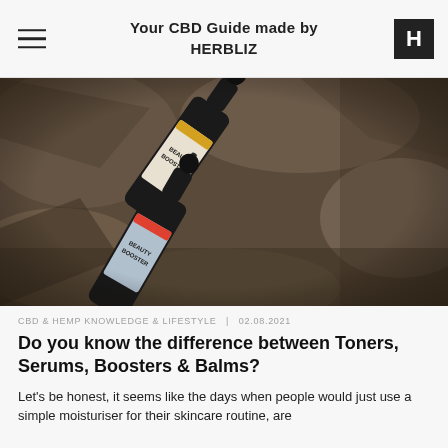Your CBD Guide made by HERBLIZ
[Figure (photo): Two dark glass dropper bottles labeled 'BEAUTY BOOSTER' lying on rocky stone surface. One has a yellow stripe label, the other has a red/coral stripe label.]
CBD & HEMP KNOWLEDGE & LIFESTYLE  |  02.08.2021
Do you know the difference between Toners, Serums, Boosters & Balms?
Let's be honest, it seems like the days when people would just use a simple moisturiser for their skincare routine, are